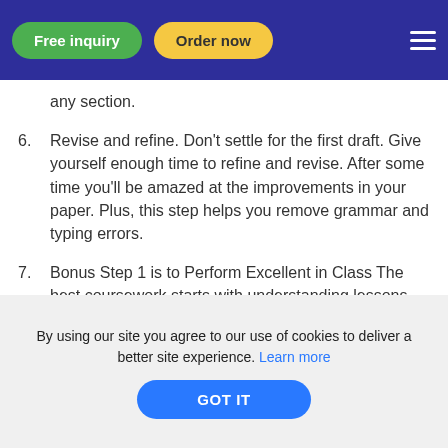Free inquiry | Order now
any section.
6. Revise and refine. Don't settle for the first draft. Give yourself enough time to refine and revise. After some time you'll be amazed at the improvements in your paper. Plus, this step helps you remove grammar and typing errors.
7. Bonus Step 1 is to Perform Excellent in Class The best coursework starts with understanding lessons. Excellent coursework can be achieved by being attentive in classes, knowing the material, and engaging with classmates. If you don't comprehend
By using our site you agree to our use of cookies to deliver a better site experience. Learn more
GOT IT